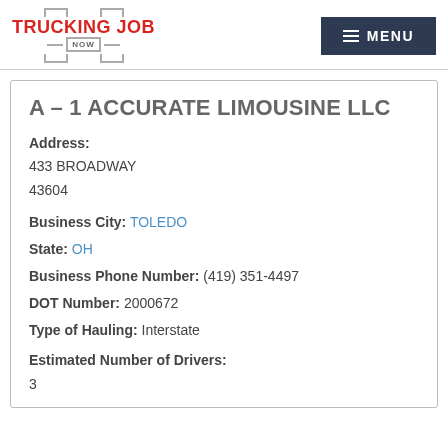TRUCKING JOB NOW — MENU
A – 1 ACCURATE LIMOUSINE LLC
Address: 433 BROADWAY 43604
Business City: TOLEDO
State: OH
Business Phone Number: (419) 351-4497
DOT Number: 2000672
Type of Hauling: Interstate
Estimated Number of Drivers: 3